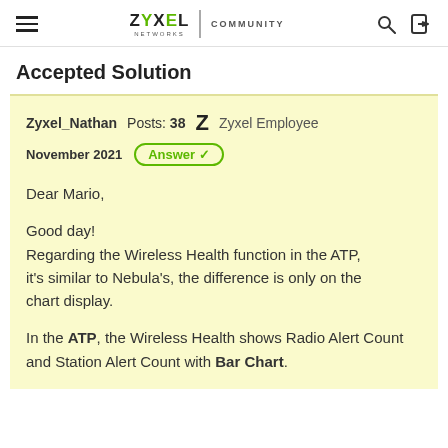ZYXEL NETWORKS | COMMUNITY
Accepted Solution
Zyxel_Nathan  Posts: 38  Z  Zyxel Employee
November 2021  Answer ✓

Dear Mario,

Good day!
Regarding the Wireless Health function in the ATP, it's similar to Nebula's, the difference is only on the chart display.

In the ATP, the Wireless Health shows Radio Alert Count and Station Alert Count with Bar Chart.